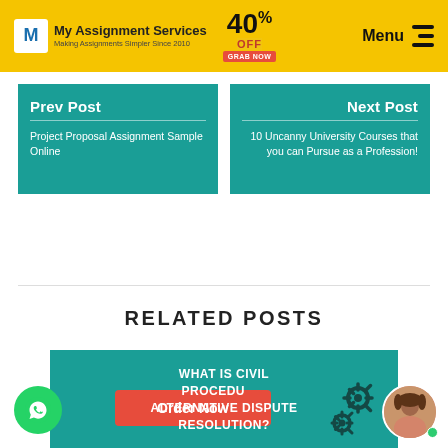My Assignment Services — Making Assignments Simpler Since 2010 | 40% OFF GRAB NOW | Menu
Prev Post
Project Proposal Assignment Sample Online
Next Post
10 Uncanny University Courses that you can Pursue as a Profession!
RELATED POSTS
[Figure (infographic): Teal card with text: WHAT IS CIVIL PROCEDURE ALTERNATIVE DISPUTE RESOLUTION? with gear icons and an avatar photo]
Order Now